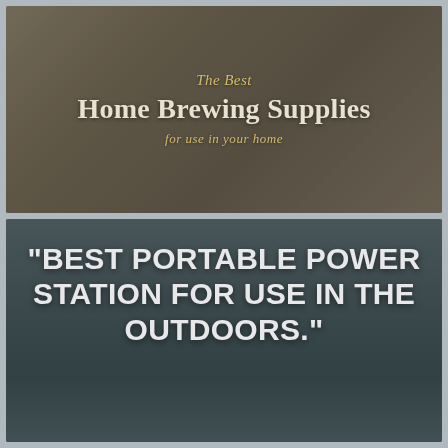[Figure (illustration): Top banner image showing a rustic barn scene with a wagon wheel and burlap sacks, overlaid with semi-transparent dark tint and text reading 'The Best Home Brewing Supplies for use in your home']
[Figure (photo): Bottom banner image showing an outdoor scene with a person in a red jacket, overlaid with semi-transparent dark tint and large bold white text reading 'BEST PORTABLE POWER STATION FOR USE IN THE OUTDOORS.']